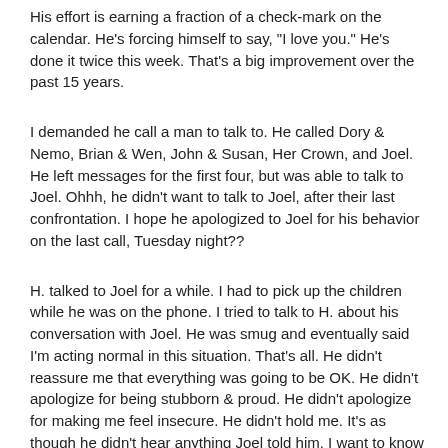His effort is earning a fraction of a check-mark on the calendar. He's forcing himself to say, "I love you." He's done it twice this week. That's a big improvement over the past 15 years.
I demanded he call a man to talk to. He called Dory & Nemo, Brian & Wen, John & Susan, Her Crown, and Joel. He left messages for the first four, but was able to talk to Joel. Ohhh, he didn't want to talk to Joel, after their last confrontation. I hope he apologized to Joel for his behavior on the last call, Tuesday night??
H. talked to Joel for a while. I had to pick up the children while he was on the phone. I tried to talk to H. about his conversation with Joel. He was smug and eventually said I'm acting normal in this situation. That's all. He didn't reassure me that everything was going to be OK. He didn't apologize for being stubborn & proud. He didn't apologize for making me feel insecure. He didn't hold me. It's as though he didn't hear anything Joel told him. I want to know what Joel told him! He's leaving out a bunch of detail.